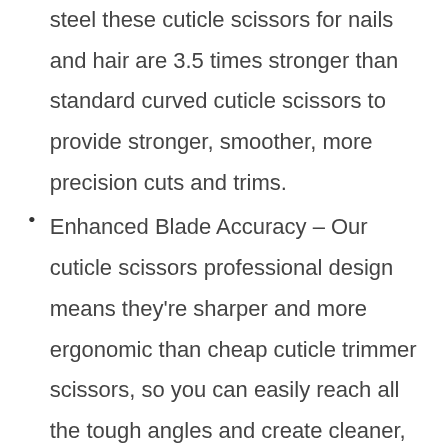steel these cuticle scissors for nails and hair are 3.5 times stronger than standard curved cuticle scissors to provide stronger, smoother, more precision cuts and trims.
Enhanced Blade Accuracy – Our cuticle scissors professional design means they're sharper and more ergonomic than cheap cuticle trimmer scissors, so you can easily reach all the tough angles and create cleaner, spa-quality results at home.
Multipurpose Grooming and Trimming – Beyond giving a manicure or pedicure on fingernails and toenails, these stainless-steel cuticle scissors can also be used for